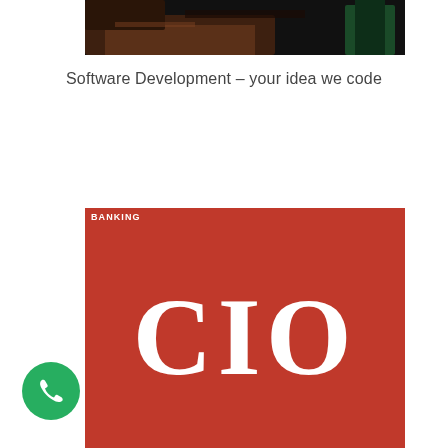[Figure (photo): Dark photograph showing classroom or office setting with desks/chairs, dark tones of brown and black]
Software Development – your idea we code
[Figure (logo): BANKING category label in red bar above a red square containing the large white bold text 'CIO']
[Figure (other): Green circular phone/call button with white phone handset icon in bottom-left corner]